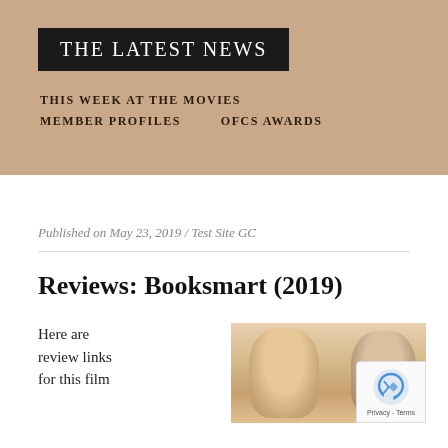THE LATEST NEWS
THIS WEEK AT THE MOVIES    MEMBER PROFILES    OFCS AWARDS
Published on May 23, 2019 / Test Site GC
Reviews: Booksmart (2019)
Here are review links for this film
[Figure (photo): Two people (a woman with long hair on the left and a man on the right) photographed together for the Booksmart 2019 film promotional image]